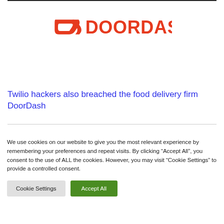[Figure (logo): DoorDash logo — red arrow/dash icon followed by DOORDASH in bold red text]
Twilio hackers also breached the food delivery firm DoorDash
We use cookies on our website to give you the most relevant experience by remembering your preferences and repeat visits. By clicking “Accept All”, you consent to the use of ALL the cookies. However, you may visit "Cookie Settings" to provide a controlled consent.